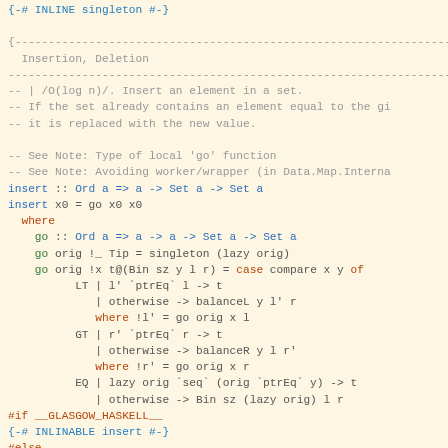{-# INLINE singleton #-}

{- Insertion, Deletion -}

-- | /O(log n)/. Insert an element in a set.
-- If the set already contains an element equal to the given
-- it is replaced with the new value.

-- See Note: Type of local 'go' function
-- See Note: Avoiding worker/wrapper (in Data.Map.Interna
insert :: Ord a => a -> Set a -> Set a
insert x0 = go x0 x0
  where
    go :: Ord a => a -> a -> Set a -> Set a
    go orig !_ Tip = singleton (lazy orig)
    go orig !x t@(Bin sz y l r) = case compare x y of
          LT | l' `ptrEq` l -> t
             | otherwise -> balanceL y l' r
             where !l' = go orig x l
          GT | r' `ptrEq` r -> t
             | otherwise -> balanceR y l r'
             where !r' = go orig x r
          EQ | lazy orig `seq` (orig `ptrEq` y) -> t
             | otherwise -> Bin sz (lazy orig) l r
#if __GLASGOW_HASKELL__
{-# INLINABLE insert #-}
#else
{-# INLINE insert #-}
#endif